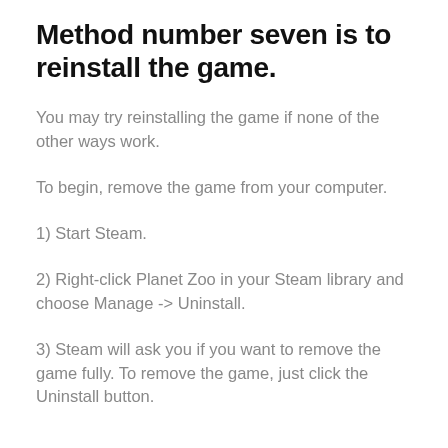Method number seven is to reinstall the game.
You may try reinstalling the game if none of the other ways work.
To begin, remove the game from your computer.
1) Start Steam.
2) Right-click Planet Zoo in your Steam library and choose Manage -> Uninstall.
3) Steam will ask you if you want to remove the game fully. To remove the game, just click the Uninstall button.